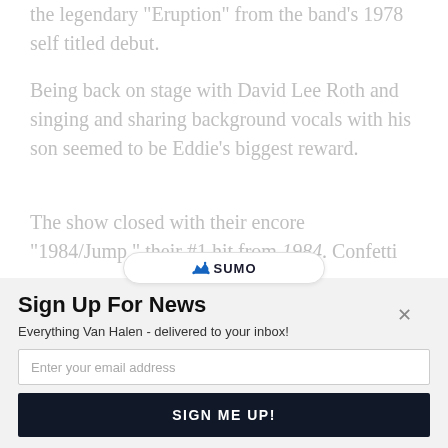the legendary “Eruption” from the band’s 1978 self titled debut.
Being back on stage with David Lee Roth and singing and sharing background vocals with his son seemed to be Eddie’s biggest reward.
The show closed with their encore “1984/Jump,” their #1 hit from 1984. Confetti cannons exploded and covered the arena crowd as the band took their curtain calls to
[Figure (logo): Sumo logo pill/badge with crown icon and SUMO text]
Sign Up For News
Everything Van Halen - delivered to your inbox!
Enter your email address
SIGN ME UP!